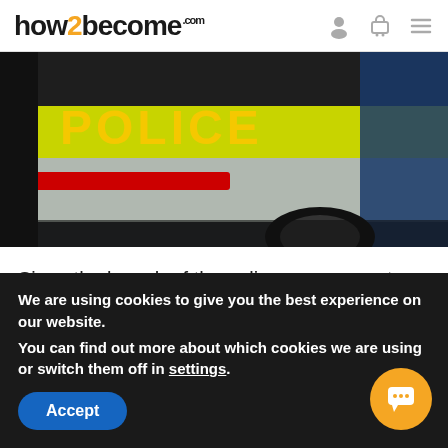how2become.com
[Figure (photo): Close-up of the rear of a police car showing 'POLICE' text in yellow/red lettering on a yellow-green background strip, with the car's white body and rear wheel visible.]
Since the launch of the online assessment process, used by police forces in England and Wales, in May 2020 plenty of questions have been raised. Something we are asked regularly is what is and isn't allowed with regards to taking notes [...]
We are using cookies to give you the best experience on our website.
You can find out more about which cookies we are using or switch them off in settings.
Accept